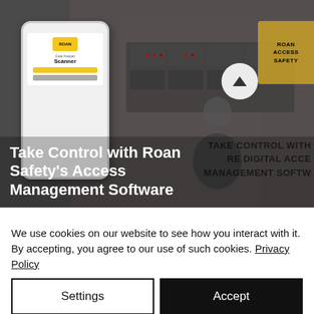[Figure (screenshot): Hero banner image showing a person working at a security control station with multiple monitors, a smartphone mockup showing the Roan Safety Gate Keeper Scanner app, a Roan Safety yellow diamond-shaped sign, and a circular up-arrow navigation button. Overlaid text reads 'Take Control with Roan Safety's Access Management Software'. Background shows faded text 'TAKE CONTROL WITH ROAN DIGITAL ACCE MANAGEMENT SOFTW'.]
We use cookies on our website to see how you interact with it. By accepting, you agree to our use of such cookies. Privacy Policy
Settings
Accept